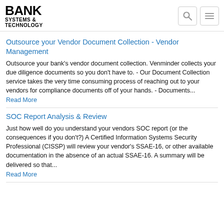BANK SYSTEMS & TECHNOLOGY
Outsource your Vendor Document Collection - Vendor Management
Outsource your bank's vendor document collection. Venminder collects your due diligence documents so you don't have to. - Our Document Collection service takes the very time consuming process of reaching out to your vendors for compliance documents off of your hands. - Documents...
Read More
SOC Report Analysis & Review
Just how well do you understand your vendors SOC report (or the consequences if you don't?) A Certified Information Systems Security Professional (CISSP) will review your vendor's SSAE-16, or other available documentation in the absence of an actual SSAE-16. A summary will be delivered so that...
Read More